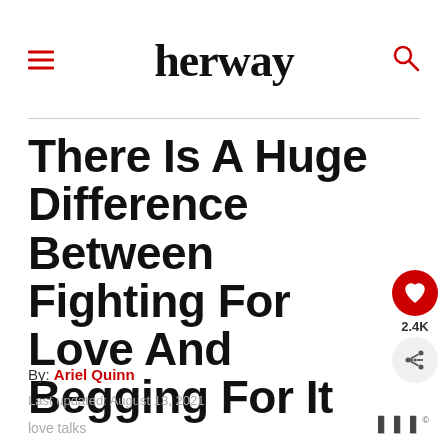herway
There Is A Huge Difference Between Fighting For Love And Begging For It
By: Ariel Quinn
Last updated: August 13, 2021
love talks